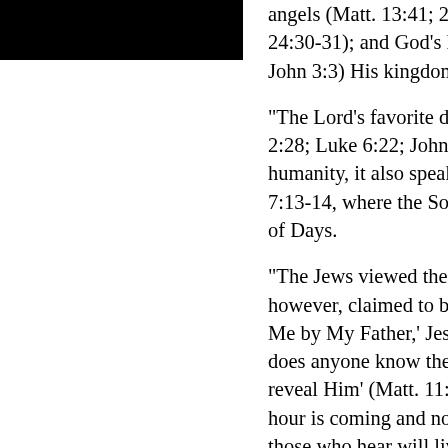[Figure (photo): Black rectangle image placeholder in upper left area]
angels (Matt. 13:41; 24:30-31); 24:30-31); and God's kingdom ( John 3:3) His kingdom (Matt. 13
“The Lord’s favorite description 2:28; Luke 6:22; John 9:35-37 humanity, it also speaks to His 7:13-14, where the Son of Man of Days.
“The Jews viewed themselves however, claimed to be God’s S Me by My Father,’ Jesus affirme does anyone know the Father ex reveal Him’ (Matt. 11:27). In Jo hour is coming and now is, wher those who hear will live. For jus to the Son also to have in Hims said to the disciples, ‘This sickn so that the Son of God may be g You the Son of God, then?’ Jesu 62). Instead of rejecting the embarrassment (Matt. 4:3, 6; 8:2
“The hostile Jewish authorities o God’s claim to deity O